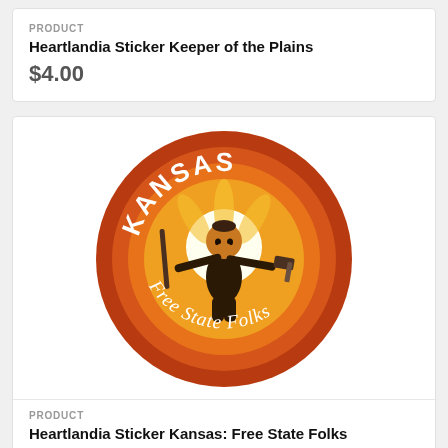PRODUCT
Heartlandia Sticker Keeper of the Plains
$4.00
[Figure (logo): Circular sticker logo with orange and dark red background rings. Center shows a stylized pioneer/frontiersman figure with arms outstretched holding a rifle on the left and a hammer on the right. The figure has an orange/yellow sunburst behind it. Text 'KANSAS' arcs across the top in white block letters. Script text 'Free State Folks' appears across the bottom in white cursive lettering.]
PRODUCT
Heartlandia Sticker Kansas: Free State Folks
$4.00